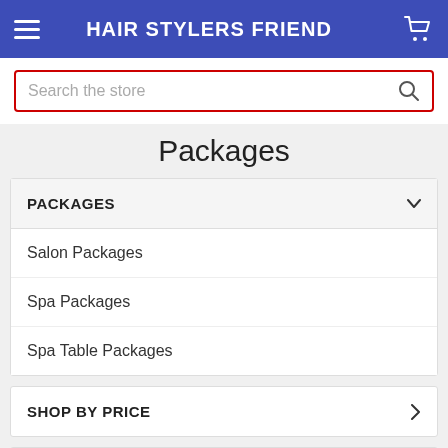HAIR STYLERS FRIEND
Search the store
Packages
PACKAGES
Salon Packages
Spa Packages
Spa Table Packages
SHOP BY PRICE
POPULAR BRANDS